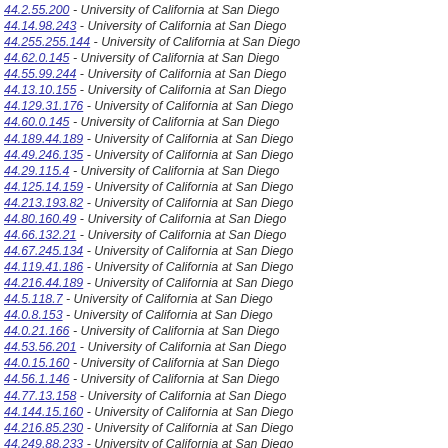44.2.55.200 - University of California at San Diego
44.14.98.243 - University of California at San Diego
44.255.255.144 - University of California at San Diego
44.62.0.145 - University of California at San Diego
44.55.99.244 - University of California at San Diego
44.13.10.155 - University of California at San Diego
44.129.31.176 - University of California at San Diego
44.60.0.145 - University of California at San Diego
44.189.44.189 - University of California at San Diego
44.49.246.135 - University of California at San Diego
44.29.115.4 - University of California at San Diego
44.125.14.159 - University of California at San Diego
44.213.193.82 - University of California at San Diego
44.80.160.49 - University of California at San Diego
44.66.132.21 - University of California at San Diego
44.67.245.134 - University of California at San Diego
44.119.41.186 - University of California at San Diego
44.216.44.189 - University of California at San Diego
44.5.118.7 - University of California at San Diego
44.0.8.153 - University of California at San Diego
44.0.21.166 - University of California at San Diego
44.53.56.201 - University of California at San Diego
44.0.15.160 - University of California at San Diego
44.56.1.146 - University of California at San Diego
44.77.13.158 - University of California at San Diego
44.144.15.160 - University of California at San Diego
44.216.85.230 - University of California at San Diego
44.249.88.233 - University of California at San Diego
44.66.36.181 - University of California at San Diego
44.111.69.214 - University of California at San Diego